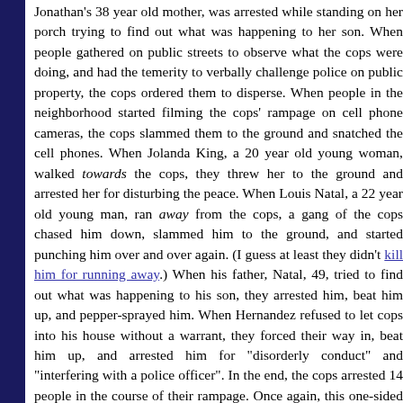Jonathan's 38 year old mother, was arrested while standing on her porch trying to find out what was happening to her son. When people gathered on public streets to observe what the cops were doing, and had the temerity to verbally challenge police on public property, the cops ordered them to disperse. When people in the neighborhood started filming the cops' rampage on cell phone cameras, the cops slammed them to the ground and snatched the cell phones. When Jolanda King, a 20 year old young woman, walked towards the cops, they threw her to the ground and arrested her for disturbing the peace. When Louis Natal, a 22 year old young man, ran away from the cops, a gang of the cops chased him down, slammed him to the ground, and started punching him over and over again. (I guess at least they didn't kill him for running away.) When his father, Natal, 49, tried to find out what was happening to his son, they arrested him, beat him up, and pepper-sprayed him. When Hernandez refused to let cops into his house without a warrant, they forced their way in, beat him up, and arrested him for "disorderly conduct" and "interfering with a police officer". In the end, the cops arrested 14 people in the course of their rampage. Once again, this one-sided assault, in which the cops from abandoned and bulldozed neighborhoods